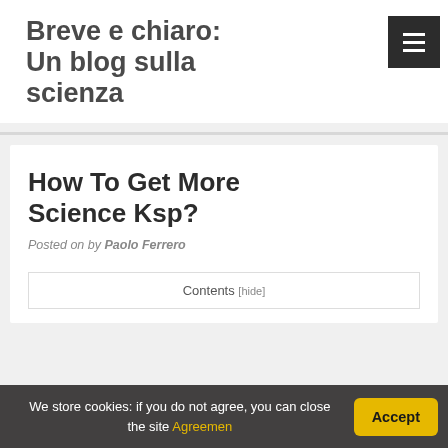Breve e chiaro: Un blog sulla scienza
How To Get More Science Ksp?
Posted on by Paolo Ferrero
Contents [hide]
We store cookies: if you do not agree, you can close the site Agreemen
Accept